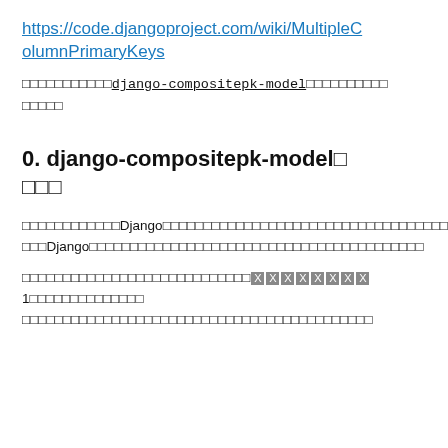https://code.djangoproject.com/wiki/MultipleColumnPrimaryKeys
□□□□□□□□□□□django-compositepk-model□□□□□□□□□□□□□□□
0. django-compositepk-model□□□
□□□□□□□□□□□□□Django□□□□□□□□□□□□□□□□□□□□□□□□□□□□□□□□□□□Django□□□□□□□□□□□□□□□□□□□□□□□□□□□□□□□□□□□
□□□□□□□□□□□□□□□□□□□□□□□□□□□□□□□□□□1□□□□□□□□□□□□□□□□□□□□□□□□□□□□□□□□□□□□□□□□□□□□□□□□□□□□